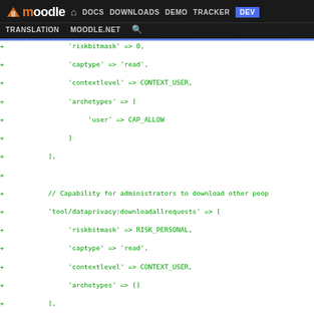moodle DOCS DOWNLOADS DEMO TRACKER DEV TRANSLATION MOODLE.NET
+             'riskbitmask' => 0,
+             'captype' => 'read',
+             'contextlevel' => CONTEXT_USER,
+             'archetypes' => [
+                  'user' => CAP_ALLOW
+             ]
+        ],
+
+        // Capability for administrators to download other peo
+        'tool/dataprivacy:downloadallrequests' => [
+             'riskbitmask' => RISK_PERSONAL,
+             'captype' => 'read',
+             'contextlevel' => CONTEXT_USER,
+             'archetypes' => []
+        ],
   ];
diff --git a/admin/tool/dataprivacy/lang/en/tool dataprivacy.php b/admin/tool/dataprivacy/lang/en/tool dataprivacy.php
index b01a0b6..4af32a8 100644 (file)
--- a/admin/tool/dataprivacy/lang/en/tool_dataprivacy.php
+++ b/admin/tool/dataprivacy/lang/en/tool_dataprivacy.php
@@ -66,6 +66,8 @@ $string['datadeletionpagehelp'] = 'Data fo
 $string['dataprivacy:makedatarequestsforchildren'] = 'Make
 $string['dataprivacy:managedatarequests'] = 'Manage data re